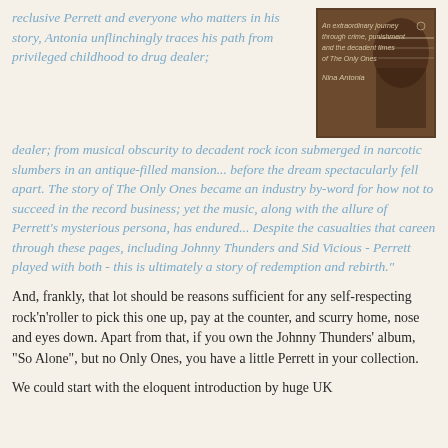reclusive Perrett and everyone who matters in his story, Antonia unflinchingly traces his path from privileged childhood to drug dealer; from musical obscurity to decadent rock icon submerged in narcotic slumbers in an antique-filled mansion... before the dream spectacularly fell apart. The story of The Only Ones became an industry by-word for how not to succeed in the record business; yet the music, along with the allure of Perrett's mysterious persona, has endured... Despite the casualties that careen through these pages, including Johnny Thunders and Sid Vicious - Perrett played with both - this is ultimately a story of redemption and rebirth."
[Figure (photo): Book cover showing a dark brown/sepia toned image with text: 'An extraordinary journey through crime, punishment and the decadent times of The Only Ones' and author name 'Nina Antonia']
And, frankly, that lot should be reasons sufficient for any self-respecting rock'n'roller to pick this one up, pay at the counter, and scurry home, nose and eyes down. Apart from that, if you own the Johnny Thunders' album, "So Alone", but no Only Ones, you have a little Perrett in your collection.
We could start with the eloquent introduction by huge UK star 'Bri' John Symons Shake "The greatest..." but let's not"